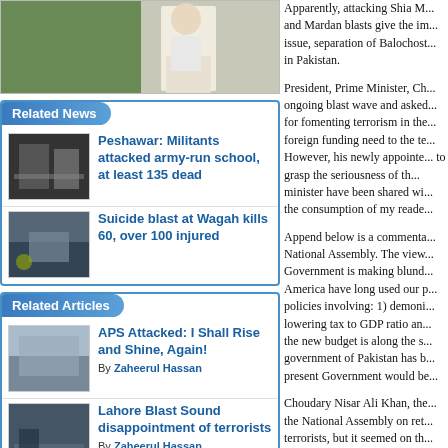[Figure (photo): Top photo of a person in white clothing against a green outdoor background]
Related News
[Figure (photo): News thumbnail: Peshawar army school attack]
Peshawar: Militants attacked army-run school, at least 135 dead
[Figure (photo): News thumbnail: Wagah suicide blast]
Suicide blast at Wagah kills 60, over 100 injured
Related Articles
[Figure (photo): Article thumbnail: APS attack]
APS Attacked: I Shall Rise and Shine, Again! By Zaheerul Hassan
[Figure (photo): Article thumbnail: Lahore blast]
Lahore Blast Sound disappointment of terrorists By Zaheerul Hassan
Apparently, attacking Shia M... and Mardan blasts give the im... issue, separation of Balochost... in Pakistan.
President, Prime Minister, Ch... ongoing blast wave and asked... for fomenting terrorism in the... foreign funding need to the te... However, his newly appointe... to grasp the seriousness of th... minister have been shared wi... the consumption of my reade...
Append below is a commenta... National Assembly. The view... Government is making blund... America have long used our p... policies involving: 1) demoni... lowering tax to GDP ratio an... the new budget is along the s... government of Pakistan has b... present Government would be...
Choudary Nisar Ali Khan, the... the National Assembly on ret... terrorists, but it seemed on th... He blamed them, the Police,...